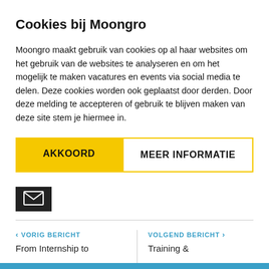Cookies bij Moongro
Moongro maakt gebruik van cookies op al haar websites om het gebruik van de websites te analyseren en om het mogelijk te maken vacatures en events via social media te delen. Deze cookies worden ook geplaatst door derden. Door deze melding te accepteren of gebruik te blijven maken van deze site stem je hiermee in.
AKKOORD | MEER INFORMATIE
[Figure (other): Dark square box containing an email/envelope icon (white envelope outline on dark background)]
< VORIG BERICHT — From Internship to  |  VOLGEND BERICHT > — Training &